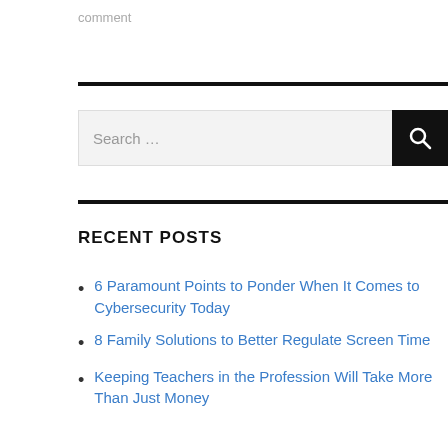comment
RECENT POSTS
6 Paramount Points to Ponder When It Comes to Cybersecurity Today
8 Family Solutions to Better Regulate Screen Time
Keeping Teachers in the Profession Will Take More Than Just Money